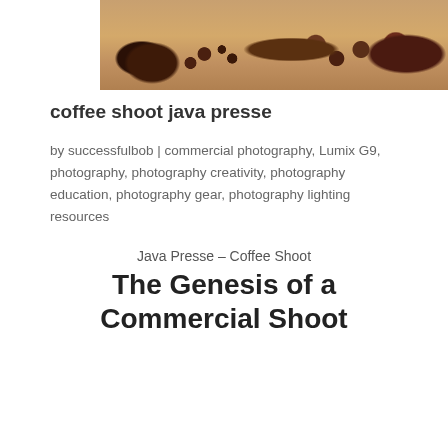[Figure (photo): Top portion of a coffee beans and ground coffee product photography image on a wooden surface]
coffee shoot java presse
by successfulbob | commercial photography, Lumix G9, photography, photography creativity, photography education, photography gear, photography lighting resources
Java Presse – Coffee Shoot
The Genesis of a Commercial Shoot
Not quite ‘nectar of the gods’ but I’ve found some serious joy in my morning coffee. It was a gradual process to see the pleasure I now have in the morning ritual and enjoyment of grinding beans, brewing and enjoying coffee.
[Figure (photo): Bottom portion of a coffee brewing equipment photography, partially visible]